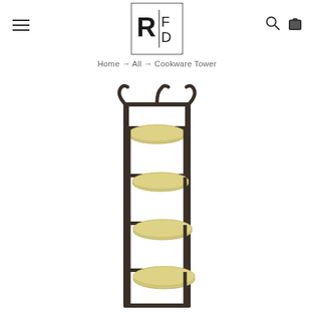RFD logo with hamburger menu, search and bag icons
Home → All → Cookware Tower
[Figure (photo): A tall vertical metal cookware tower rack with dark brown/black frame and multiple circular yellow/cream colored shelves (5 visible), featuring curved hooks at the top. The rack is narrow and elongated, photographed against a white background.]